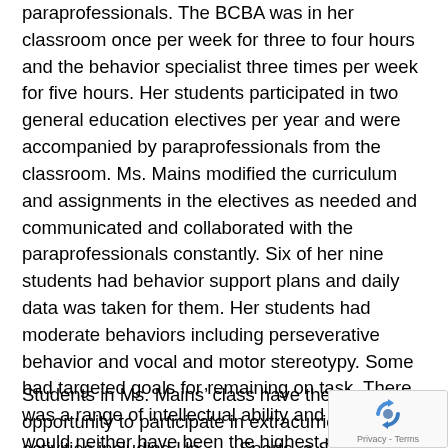paraprofessionals. The BCBA was in her classroom once per week for three to four hours and the behavior specialist three times per week for five hours. Her students participated in two general education electives per year and were accompanied by paraprofessionals from the classroom. Ms. Mains modified the curriculum and assignments in the electives as needed and communicated and collaborated with the paraprofessionals constantly. Six of her nine students had behavior support plans and daily data was taken for them. Her students had moderate behaviors including perseverative behavior and vocal and motor stereotypy. Some had targeted goals for remaining on task. There was a range of intellectual ability and Student would neither have been the highest nor the lowest. (Mains)
Students in Ms. Mains’ class have the opportunity to participate in extracurricular activities including Unified Sports, a Special Olympics program. It pairs students in